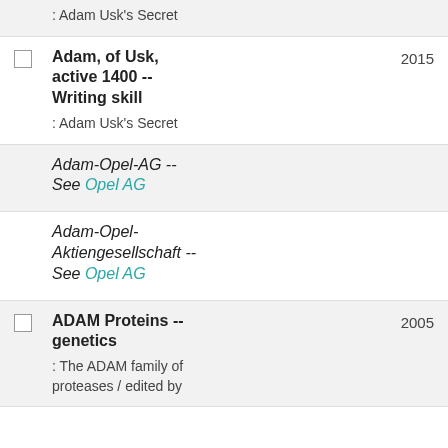: Adam Usk's Secret
Adam, of Usk, active 1400 -- Writing skill
: Adam Usk's Secret
2015
Adam-Opel-AG -- See Opel AG
Adam-Opel-Aktiengesellschaft -- See Opel AG
ADAM Proteins -- genetics
: The ADAM family of proteases / edited by
2005